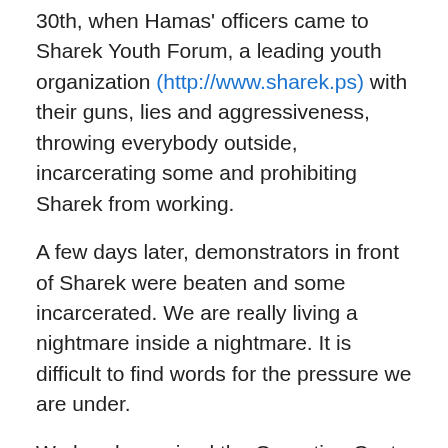30th, when Hamas' officers came to Sharek Youth Forum, a leading youth organization (http://www.sharek.ps) with their guns, lies and aggressiveness, throwing everybody outside, incarcerating some and prohibiting Sharek from working.
A few days later, demonstrators in front of Sharek were beaten and some incarcerated. We are really living a nightmare inside a nightmare. It is difficult to find words for the pressure we are under.
We barely survived the Operation Cast Lead, where Israel very effectively bombed the shit out of us, destroying thousands of homes and even more lives and dreams.
They did not get rid of Hamas, as they intended, but they sure scared us forever and distributed post traumatic stress syndrome to everybody, as there was nowhere to